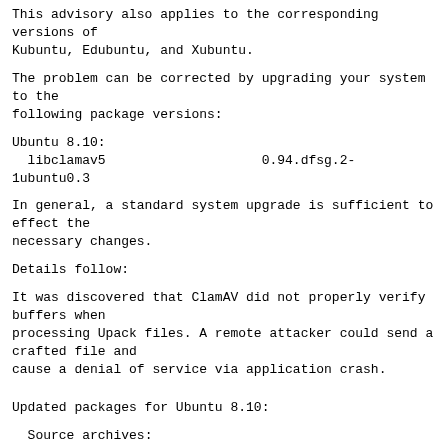This advisory also applies to the corresponding versions of
Kubuntu, Edubuntu, and Xubuntu.
The problem can be corrected by upgrading your system to the
following package versions:
Ubuntu 8.10:
  libclamav5                    0.94.dfsg.2-1ubuntu0.3
In general, a standard system upgrade is sufficient to effect the
necessary changes.
Details follow:
It was discovered that ClamAV did not properly verify buffers when
processing Upack files. A remote attacker could send a crafted file and
cause a denial of service via application crash.
Updated packages for Ubuntu 8.10:
Source archives:
http://security.ubuntu.com/ubuntu/pool/main/c/clamav/cl...